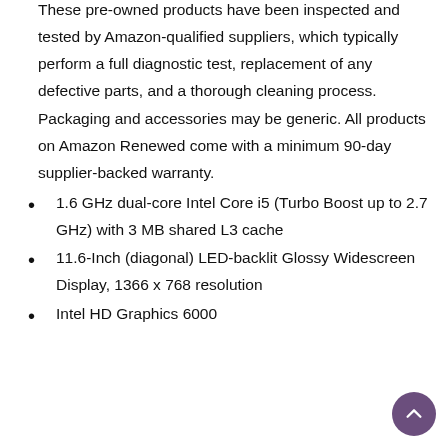These pre-owned products have been inspected and tested by Amazon-qualified suppliers, which typically perform a full diagnostic test, replacement of any defective parts, and a thorough cleaning process. Packaging and accessories may be generic. All products on Amazon Renewed come with a minimum 90-day supplier-backed warranty.
1.6 GHz dual-core Intel Core i5 (Turbo Boost up to 2.7 GHz) with 3 MB shared L3 cache
11.6-Inch (diagonal) LED-backlit Glossy Widescreen Display, 1366 x 768 resolution
Intel HD Graphics 6000